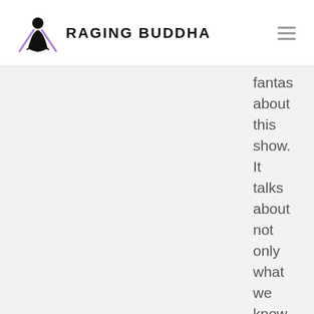Raging Buddha
fantasy about this show. It talks about not only what we know now about the universe but the